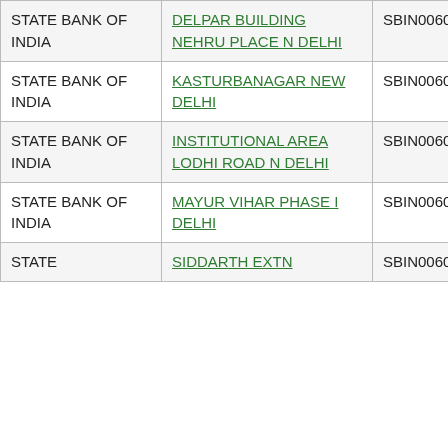| Bank | Branch | IFSC | MICR |
| --- | --- | --- | --- |
| STATE BANK OF INDIA | DELPAR BUILDING NEHRU PLACE N DELHI | SBIN0060163 | 110002491 |
| STATE BANK OF INDIA | KASTURBANAGAR NEW DELHI | SBIN0060303 | 110002492 |
| STATE BANK OF INDIA | INSTITUTIONAL AREA LODHI ROAD N DELHI | SBIN0060321 | 110002493 |
| STATE BANK OF INDIA | MAYUR VIHAR PHASE I DELHI | SBIN0060336 | 110002494 |
| STATE BANK OF INDIA | SIDDARTH EXTN | SBIN0060360 | 110002495 |